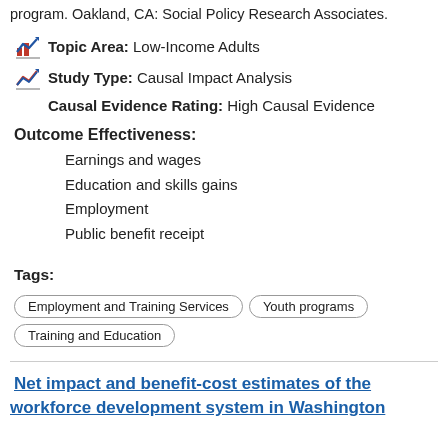program. Oakland, CA: Social Policy Research Associates.
Topic Area: Low-Income Adults
Study Type: Causal Impact Analysis
Causal Evidence Rating: High Causal Evidence
Outcome Effectiveness:
Earnings and wages
Education and skills gains
Employment
Public benefit receipt
Tags: Employment and Training Services  Youth programs  Training and Education
Net impact and benefit-cost estimates of the workforce development system in Washington